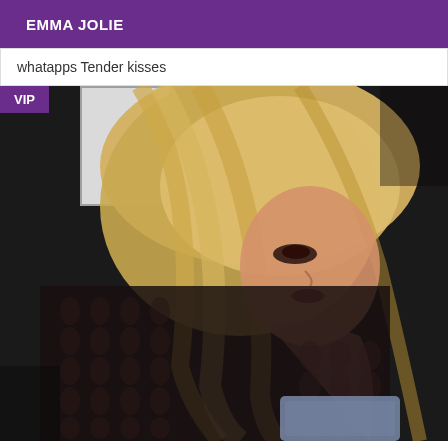EMMA JOLIE
whatapps Tender kisses
[Figure (photo): Woman with long blonde hair wearing a black fishnet/cut-out bodysuit, looking down, with a VIP badge in the top-left corner of the image.]